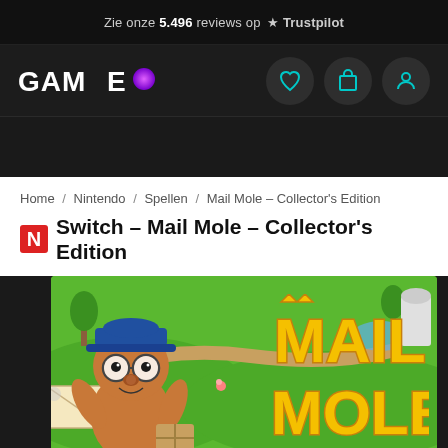Zie onze 5.496 reviews op Trustpilot
[Figure (logo): GAMEO logo with circular gradient O]
Home / Nintendo / Spellen / Mail Mole – Collector's Edition
N Switch – Mail Mole – Collector's Edition
[Figure (photo): Mail Mole Collector's Edition game cover art showing a cartoon mole postal worker character with blue cap and glasses, holding a package, with MAIL MOLE text in large orange letters, set against a green landscape game world background]